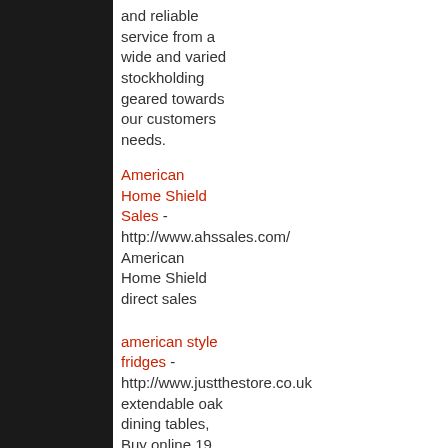and reliable service from a wide and varied stockholding geared towards our customers needs.
American Home Shield Sales - http://www.ahssales.com/ American Home Shield direct sales
american style fridges - http://www.justthestore.co.uk extendable oak dining tables, Buy online 19 flat panel monitors,cheap compaq laptops,diamond wedding ring sets,rock bottom furniture b...